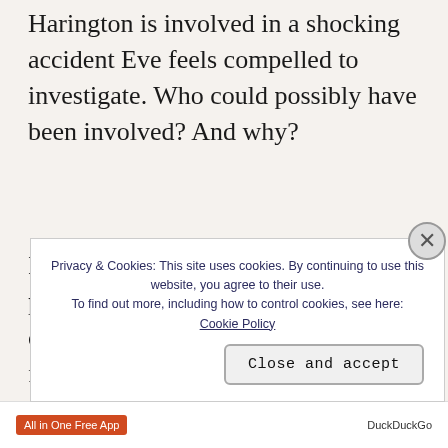Harington is involved in a shocking accident Eve feels compelled to investigate. Who could possibly have been involved? And why?
I liked the character of Eve. She played an integral part in her community and was determined and fearless. The mystery was fascinating and kept me i i i
Privacy & Cookies: This site uses cookies. By continuing to use this website, you agree to their use.
To find out more, including how to control cookies, see here:
Cookie Policy
Close and accept
[Figure (screenshot): Bottom ad bar with 'All in One Free App' button in orange and 'DuckDuckGo' text]